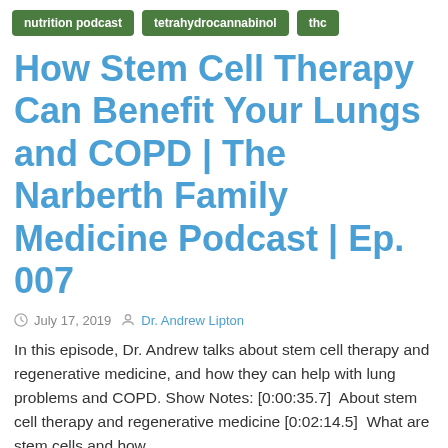nutrition podcast
tetrahydrocannabinol
thc
How Stem Cell Therapy Can Benefit Your Lungs and COPD | The Narberth Family Medicine Podcast | Ep. 007
July 17, 2019  Dr. Andrew Lipton
In this episode, Dr. Andrew talks about stem cell therapy and regenerative medicine, and how they can help with lung problems and COPD. Show Notes: [0:00:35.7]  About stem cell therapy and regenerative medicine [0:02:14.5]  What are stem cells and how …